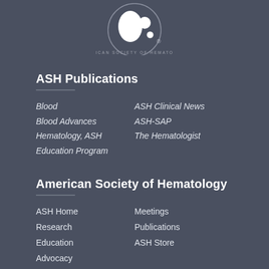[Figure (logo): American Society of Hematology circular logo with white droplets on dark background]
ASH Publications
Blood
Blood Advances
Hematology, ASH Education Program
ASH Clinical News
ASH-SAP
The Hematologist
American Society of Hematology
ASH Home
Research
Education
Advocacy
Meetings
Publications
ASH Store